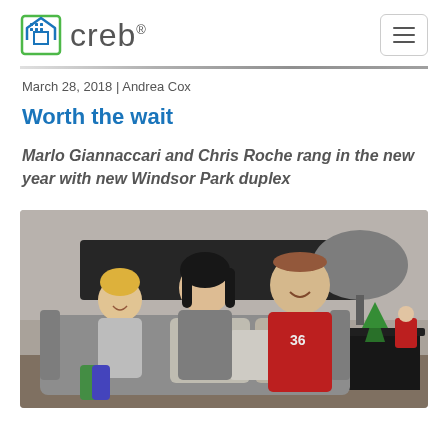creb®
March 28, 2018 | Andrea Cox
Worth the wait
Marlo Giannaccari and Chris Roche rang in the new year with new Windsor Park duplex
[Figure (photo): A smiling family — a woman with dark hair, a man in a red baseball jersey, and a young blond boy — sitting together on a grey sofa in a living room decorated with Christmas ornaments and a small green tree.]